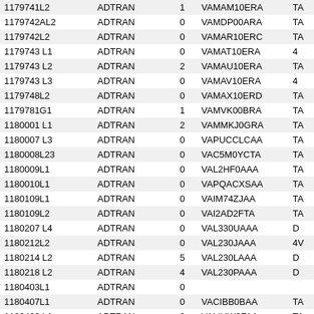| Col1 | Col2 | Col3 | Col4 | Col5 |
| --- | --- | --- | --- | --- |
| 1179741L2 | ADTRAN | 1 | VAMAM10ERA | TA |
| 1179742AL2 | ADTRAN | 0 | VAMDP00ARA | TA |
| 1179742L2 | ADTRAN | 0 | VAMAR10ERC | TA |
| 1179743 L1 | ADTRAN | 0 | VAMAT10ERA | 4 |
| 1179743 L2 | ADTRAN | 2 | VAMAU10ERA | TA |
| 1179743 L3 | ADTRAN | 0 | VAMAV10ERA | 4 |
| 1179748L2 | ADTRAN | 0 | VAMAX10ERD | TA |
| 1179781G1 | ADTRAN | 1 | VAMVK00BRA | TA |
| 1180001 L1 | ADTRAN | 2 | VAMMKJ0GRA | TA |
| 1180007 L3 | ADTRAN | 0 | VAPUCCLCAA | TA |
| 1180008L23 | ADTRAN | 0 | VAC5M0YCTA | TA |
| 1180009L1 | ADTRAN | 0 | VAL2HF0AAA | TA |
| 1180010L1 | ADTRAN | 0 | VAPQACXSAA | TA |
| 1180109L1 | ADTRAN | 0 | VAIM74ZJAA | TA |
| 1180109L2 | ADTRAN | 0 | VAI2AD2FTA | TA |
| 1180207 L4 | ADTRAN | 0 | VAL330UAAA | D |
| 1180212L2 | ADTRAN | 0 | VAL230JAAA | 4V |
| 1180214 L2 | ADTRAN | 5 | VAL230LAAA | D |
| 1180218 L2 | ADTRAN | 4 | VAL230PAAA | D |
| 1180403L1 | ADTRAN | 0 |  |  |
| 1180407L1 | ADTRAN | 0 | VACIBB0BAA | TA |
| 1180408 L1 | ADTRAN | 0 | VALIUW0FAA | TA |
| 1180430L1 | ADTRAN | 0 | VAL3AA0AAA | D |
| 1180431L1 | ADTRAN | 0 | VAL3AB0AAA | E |